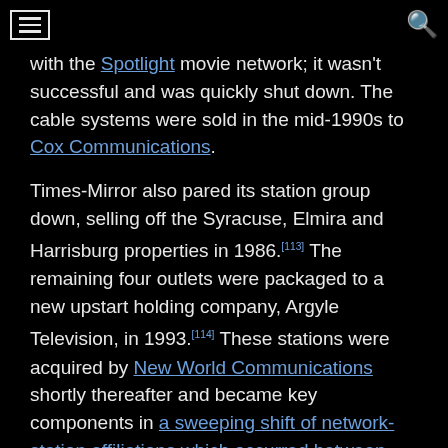[hamburger menu icon] [search icon]
with the Spotlight movie network; it wasn't successful and was quickly shut down. The cable systems were sold in the mid-1990s to Cox Communications.
Times-Mirror also pared its station group down, selling off the Syracuse, Elmira and Harrisburg properties in 1986.[113] The remaining four outlets were packaged to a new upstart holding company, Argyle Television, in 1993.[114] These stations were acquired by New World Communications shortly thereafter and became key components in a sweeping shift of network-station affiliations which occurred between 1994 and 1995.
Stations
| City of license / | Station | Channel | Years | ownership |
| --- | --- | --- | --- | --- |